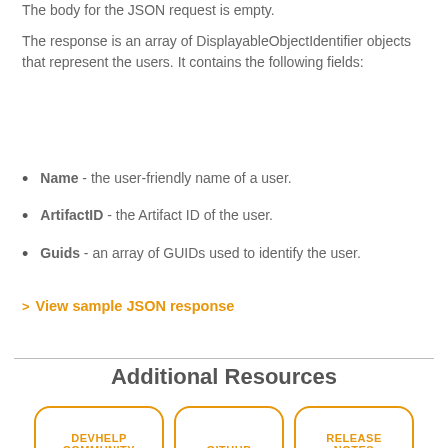The body for the JSON request is empty.
The response is an array of DisplayableObjectIdentifier objects that represent the users. It contains the following fields:
Name - the user-friendly name of a user.
ArtifactID - the Artifact ID of the user.
Guids - an array of GUIDs used to identify the user.
> View sample JSON response
Additional Resources
DEVHELP COMMUNITY
GITHUB
RELEASE NOTES